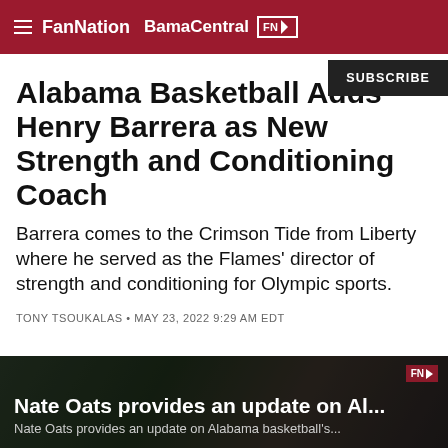FanNation BamaCentral
SUBSCRIBE
Alabama Basketball Adds Henry Barrera as New Strength and Conditioning Coach
Barrera comes to the Crimson Tide from Liberty where he served as the Flames' director of strength and conditioning for Olympic sports.
TONY TSOUKALAS • MAY 23, 2022 9:29 AM EDT
[Figure (photo): Video thumbnail showing crowd scene with overlay text: Nate Oats provides an update on Al... / Nate Oats provides an update on Alabama basketball's...]